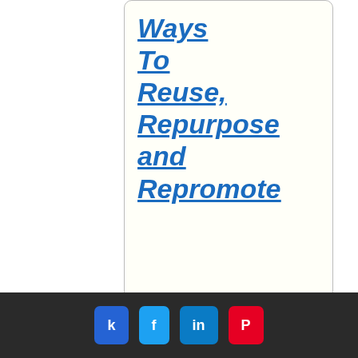[Figure (other): Card with italic bold blue underlined text reading 'Ways To Reuse, Repurpose and Repromote' on cream background with rounded border]
[Figure (other): Marketing Training card with dark red border and gray background, large serif text]
[Figure (illustration): Partial image showing text 'content business to th e' with red upward arrow and stacks of money on beige background]
Share buttons: k (Facebook), f (Twitter), in (LinkedIn), P (Pinterest)